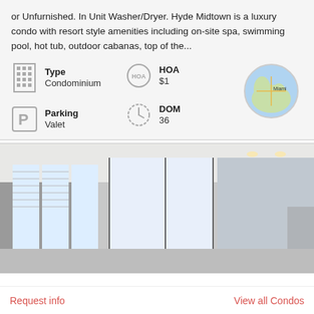or Unfurnished. In Unit Washer/Dryer. Hyde Midtown is a luxury condo with resort style amenities including on-site spa, swimming pool, hot tub, outdoor cabanas, top of the...
Type: Condominium
HOA: $1
[Figure (map): Circular map thumbnail showing Miami area]
Parking: Valet
DOM: 36
[Figure (photo): Interior photo of a condominium showing floor-to-ceiling windows with blinds, white walls, and recessed lighting]
Request info
View all Condos